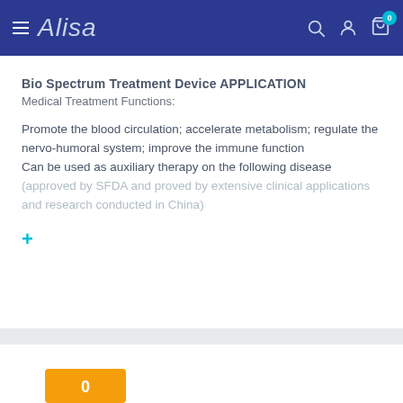Alisa — navigation bar with hamburger menu, search, account, cart (0)
Bio Spectrum Treatment Device APPLICATION
Medical Treatment Functions:
Promote the blood circulation; accelerate metabolism; regulate the nervo-humoral system; improve the immune function
Can be used as auxiliary therapy on the following disease (approved by SFDA and proved by extensive clinical applications and research conducted in China)